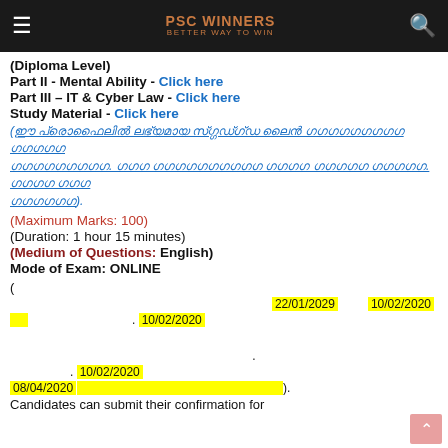PSC WINNERS - BETTER WAY TO WIN
(Diploma Level)
Part II - Mental Ability - Click here
Part III – IT & Cyber Law - Click here
Study Material - Click here
(Malayalam text in blue - link text)
(Maximum Marks: 100)
(Duration: 1 hour 15 minutes)
(Medium of Questions: English)
Mode of Exam: ONLINE
( 22/01/2029  10/02/2020
[yellow box] . 10/02/2020
. 10/02/2020
08/04/2020 [highlighted] ).
Candidates can submit their confirmation for